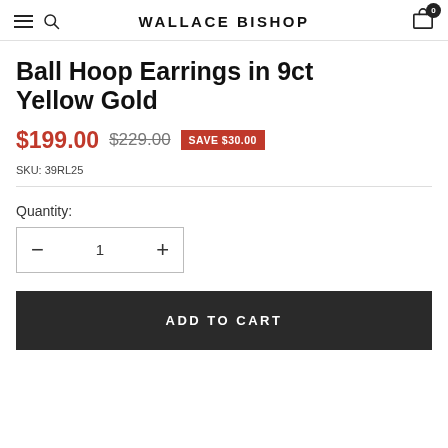WALLACE BISHOP
Ball Hoop Earrings in 9ct Yellow Gold
$199.00  $229.00  SAVE $30.00
SKU: 39RL25
Quantity:
ADD TO CART